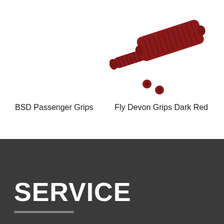[Figure (photo): Fly Devon Grips Dark Red — dark red BMX handlebar grips with screws/plugs, viewed at angle]
BSD Passenger Grips
Fly Devon Grips Dark Red
SERVICE